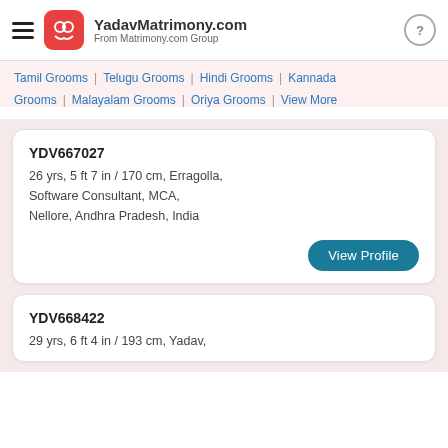YadavMatrimony.com — From Matrimony.com Group
Tamil Grooms | Telugu Grooms | Hindi Grooms | Kannada Grooms | Malayalam Grooms | Oriya Grooms | View More
YDV667027
26 yrs, 5 ft 7 in / 170 cm, Erragolla, Software Consultant, MCA, Nellore, Andhra Pradesh, India
View Profile
YDV668422
29 yrs, 6 ft 4 in / 193 cm, Yadav,